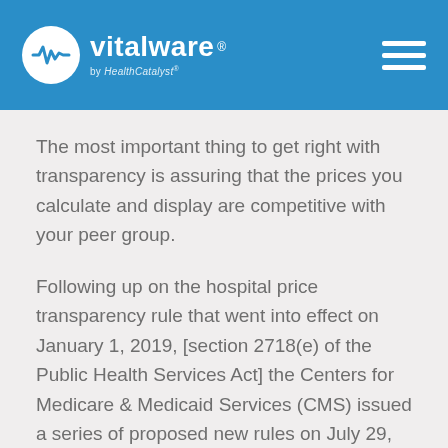vitalware by HealthCatalyst
The most important thing to get right with transparency is assuring that the prices you calculate and display are competitive with your peer group.
Following up on the hospital price transparency rule that went into effect on January 1, 2019, [section 2718(e) of the Public Health Services Act] the Centers for Medicare & Medicaid Services (CMS) issued a series of proposed new rules on July 29, 2019. These proposed rules include several new requirements that up the ante on transparency required in the original rule.